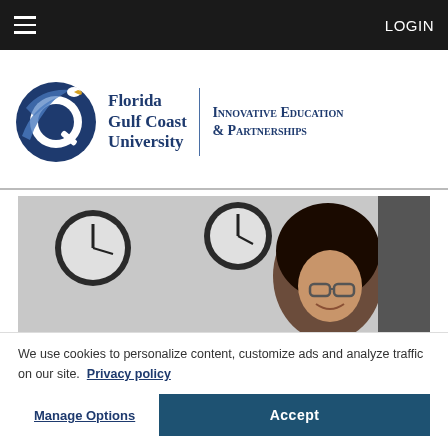LOGIN
[Figure (logo): Florida Gulf Coast University - Innovative Education & Partnerships logo]
[Figure (photo): Smiling young woman with curly hair and glasses, two wall clocks in background]
We use cookies to personalize content, customize ads and analyze traffic on our site.  Privacy policy
Manage Options
Accept